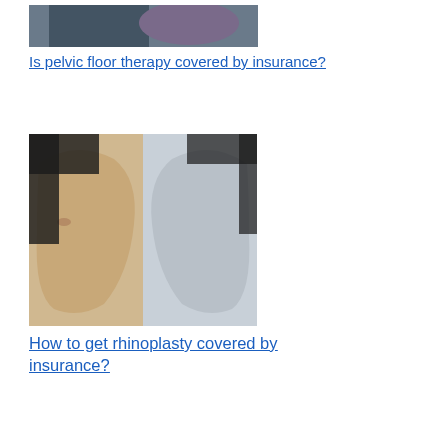[Figure (photo): Partially visible image of pelvic floor therapy treatment, top portion cropped]
Is pelvic floor therapy covered by insurance?
[Figure (photo): Side profile photos of two women's faces showing rhinoplasty before/after comparison]
How to get rhinoplasty covered by insurance?
[Figure (photo): Arm with varicose veins being examined]
How to get insurance to pay for varicose vein removal?
[Figure (photo): Lead generation themed image, partially visible at bottom]